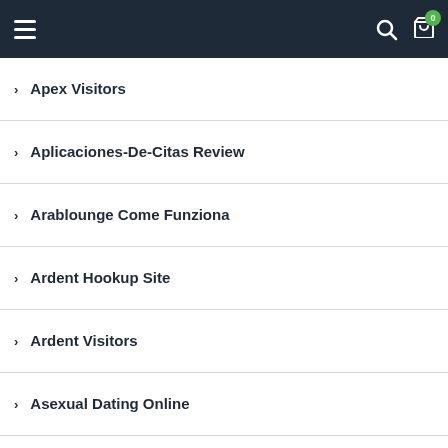Navigation header with hamburger menu, search icon, and cart icon (0 items)
Apex Visitors
Aplicaciones-De-Citas Review
Arablounge Come Funziona
Ardent Hookup Site
Ardent Visitors
Asexual Dating Online
Ashley Madison Visitors
Ashley-Madison Review
Ashley-Madison-Inceleme Adult-Dating